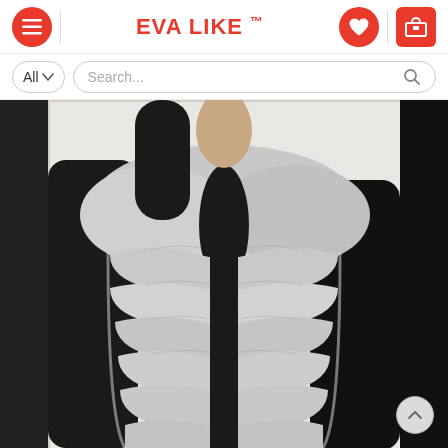EVA LIKE ™
All  Search...
[Figure (photo): A person wearing a light gray fluffy faux fur vest with chevron-style layered sections, paired with a black long-sleeve top, posed against a white paneled wall background. The person's face is not visible.]